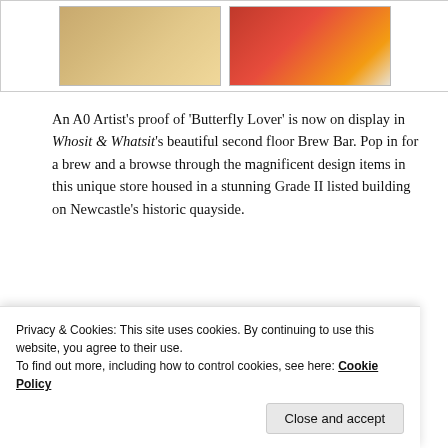[Figure (photo): Two product photos side by side: left shows cheese/food products with yellow packaging, right shows red and multi-colored packaged goods]
An A0 Artist's proof of ‘Butterfly Lover’ is now on display in Whosit & Whatsit’s beautiful second floor Brew Bar. Pop in for a brew and a browse through the magnificent design items in this unique store housed in a stunning Grade II listed building on Newcastle’s historic quayside.
Advertisements
[Figure (screenshot): Longreads advertisement banner: red background with white text reading ‘The best stories on the web – ours, and everyone else’s.’]
Privacy & Cookies: This site uses cookies. By continuing to use this website, you agree to their use.
To find out more, including how to control cookies, see here: Cookie Policy
Close and accept